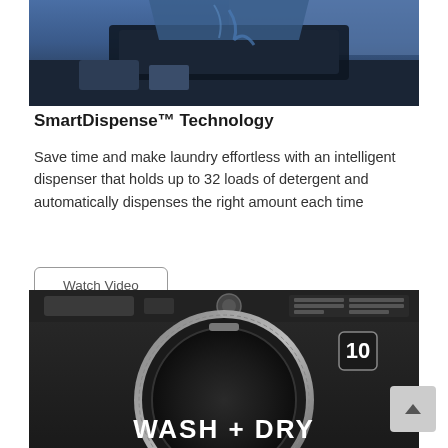[Figure (photo): Close-up photo of a washing machine detergent dispenser with blue tones, showing a dark compartment and metallic components]
SmartDispense™ Technology
Save time and make laundry effortless with an intelligent dispenser that holds up to 32 loads of detergent and automatically dispenses the right amount each time
[Figure (screenshot): Button or UI element labeled 'Watch Video' with a rounded rectangle border]
[Figure (photo): Front view of a dark/grey washing machine with circular drum door showing 'WASH + DRY' text, control panel at top, and a '10' icon visible on the door]